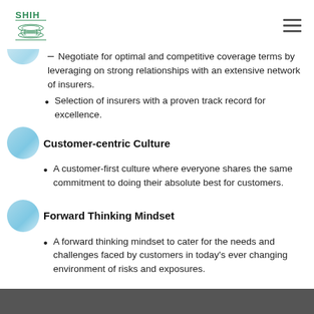SHIH
Negotiate for optimal and competitive coverage terms by leveraging on strong relationships with an extensive network of insurers.
Selection of insurers with a proven track record for excellence.
Customer-centric Culture
A customer-first culture where everyone shares the same commitment to doing their absolute best for customers.
Forward Thinking Mindset
A forward thinking mindset to cater for the needs and challenges faced by customers in today's ever changing environment of risks and exposures.